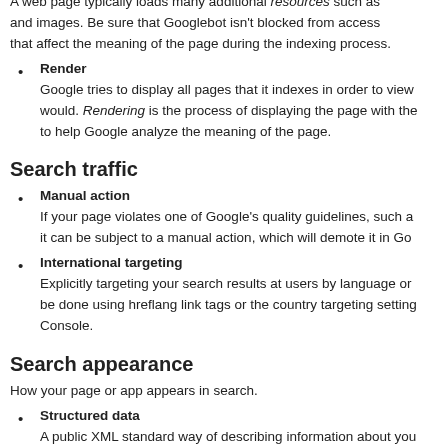A web page typically loads many additional resources such as and images. Be sure that Googlebot isn't blocked from access that affect the meaning of the page during the indexing process.
Render — Google tries to display all pages that it indexes in order to view would. Rendering is the process of displaying the page with the to help Google analyze the meaning of the page.
Search traffic
Manual action — If your page violates one of Google's quality guidelines, such a it can be subject to a manual action, which will demote it in Go
International targeting — Explicitly targeting your search results at users by language or be done using hreflang link tags or the country targeting setting Console.
Search appearance
How your page or app appears in search.
Structured data — A public XML standard way of describing information about you that the Google crawling engine understands. For instance, yo event information, or video information. Some types of structur create rich snippets.
Snippets